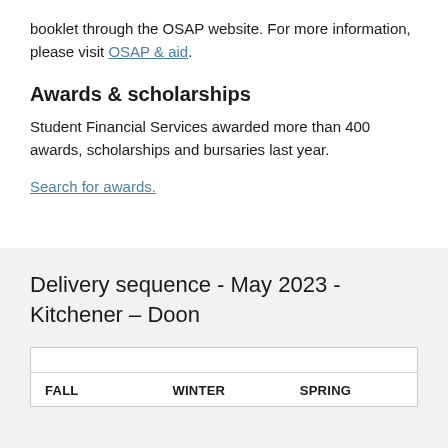booklet through the OSAP website. For more information, please visit OSAP & aid.
Awards & scholarships
Student Financial Services awarded more than 400 awards, scholarships and bursaries last year.
Search for awards.
Delivery sequence - May 2023 - Kitchener – Doon
| FALL | WINTER | SPRING |
| --- | --- | --- |